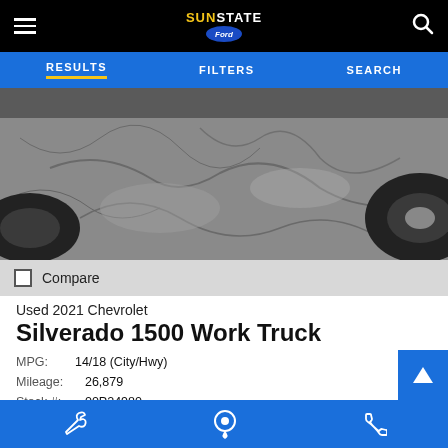Sun State Ford — hamburger menu, logo, search icon
RESULTS  FILTERS  SEARCH
[Figure (photo): Partial view of a vehicle undercarriage and tires on asphalt/cracked pavement surface]
Compare
Used 2021 Chevrolet
Silverado 1500 Work Truck
MPG:  14/18 (City/Hwy)
Mileage:  26,879
Stock #:  00P24980
VIN:  3GCNWAEF2MG366731
Ext: Summit White
Bottom navigation bar with wrench, location pin, and phone icons